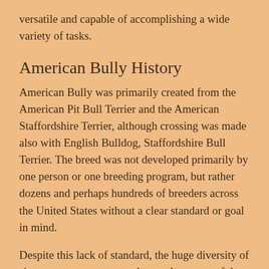versatile and capable of accomplishing a wide variety of tasks.
American Bully History
American Bully was primarily created from the American Pit Bull Terrier and the American Staffordshire Terrier, although crossing was made also with English Bulldog, Staffordshire Bull Terrier. The breed was not developed primarily by one person or one breeding program, but rather dozens and perhaps hundreds of breeders across the United States without a clear standard or goal in mind.
Despite this lack of standard, the huge diversity of sizes, appearance, coat colors and patterns of the breed, the American Bully is now recognized as a breed.  It is also one of the fastest growing breeds in terms of popularity.